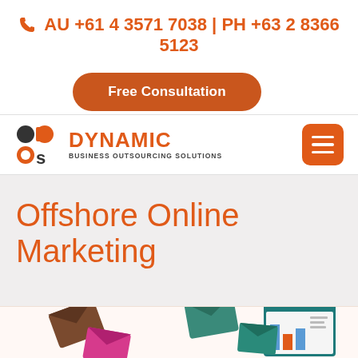AU +61 4 3571 7038 | PH +63 2 8366 5123
Free Consultation
[Figure (logo): Dynamic Business Outsourcing Solutions logo with db/os icon and orange DYNAMIC text]
Offshore Online Marketing
[Figure (illustration): Colorful email/marketing envelope icons and a document/browser illustration at the bottom of the page]